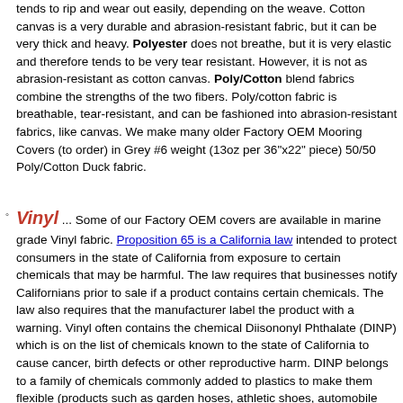tends to rip and wear out easily, depending on the weave. Cotton canvas is a very durable and abrasion-resistant fabric, but it can be very thick and heavy. Polyester does not breathe, but it is very elastic and therefore tends to be very tear resistant. However, it is not as abrasion-resistant as cotton canvas. Poly/Cotton blend fabrics combine the strengths of the two fibers. Poly/cotton fabric is breathable, tear-resistant, and can be fashioned into abrasion-resistant fabrics, like canvas. We make many older Factory OEM Mooring Covers (to order) in Grey #6 weight (13oz per 36"x22" piece) 50/50 Poly/Cotton Duck fabric.
Vinyl ... Some of our Factory OEM covers are available in marine grade Vinyl fabric. Proposition 65 is a California law intended to protect consumers in the state of California from exposure to certain chemicals that may be harmful. The law requires that businesses notify Californians prior to sale if a product contains certain chemicals. The law also requires that the manufacturer label the product with a warning. Vinyl often contains the chemical Diisononyl Phthalate (DINP) which is on the list of chemicals known to the state of California to cause cancer, birth defects or other reproductive harm. DINP belongs to a family of chemicals commonly added to plastics to make them flexible (products such as garden hoses, athletic shoes, automobile and marine seating). Exposure occurs through ingestion, inhalation and, to a lesser extent, dermal contact. While such products are